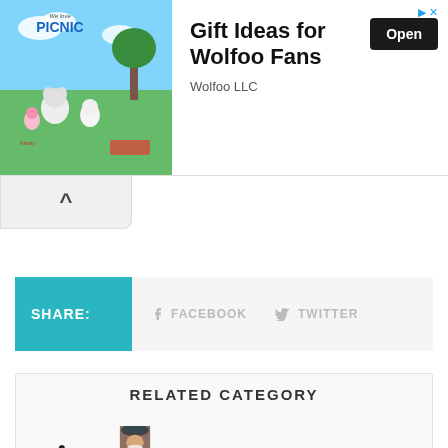[Figure (illustration): Advertisement banner for Wolfoo LLC showing animated cartoon characters (Wolfoo family) at a picnic scene with the text 'Gift Ideas for Wolfoo Fans', company name 'Wolfoo LLC', and an 'Open' button.]
Gift Ideas for Wolfoo Fans
Wolfoo LLC
SHARE:
FACEBOOK
TWITTER
RELATED CATEGORY
[Figure (photo): Portrait of a man wearing a traditional black fur hat, with a white beard, painted in an artistic style.]